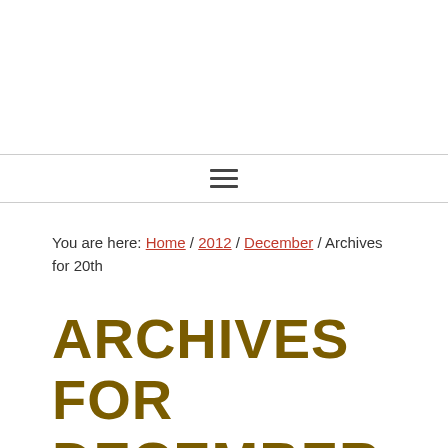≡
You are here: Home / 2012 / December / Archives for 20th
ARCHIVES FOR DECEMBER 20, 2012